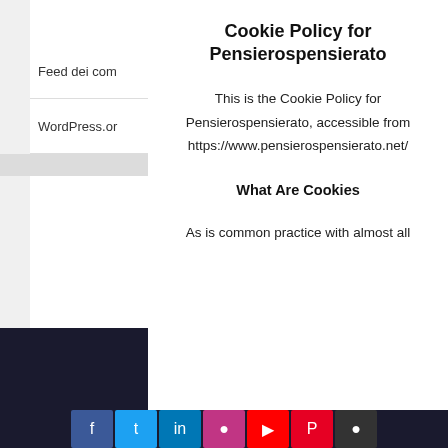Feed dei com
WordPress.or
Cookie Policy for Pensierospensierato
This is the Cookie Policy for Pensierospensierato, accessible from https://www.pensierospensierato.net/
What Are Cookies
As is common practice with almost all